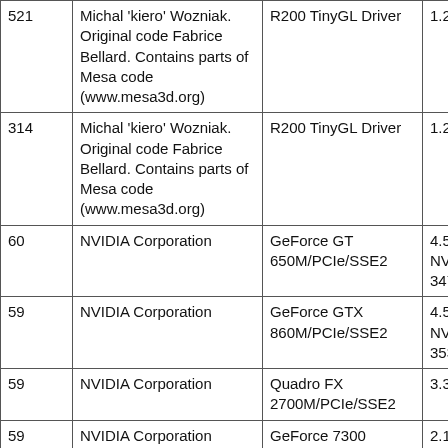| 521 | Michal 'kiero' Wozniak. Original code Fabrice Bellard. Contains parts of Mesa code (www.mesa3d.org) | R200 TinyGL Driver | 1.2 | Morp |
| 314 | Michal 'kiero' Wozniak. Original code Fabrice Bellard. Contains parts of Mesa code (www.mesa3d.org) | R200 TinyGL Driver | 1.2 | Morp |
| 60 | NVIDIA Corporation | GeForce GT 650M/PCIe/SSE2 | 4.5.0 NVIDIA 347.52 | Wind |
| 59 | NVIDIA Corporation | GeForce GTX 860M/PCIe/SSE2 | 4.5.0 NVIDIA 353.62 | Wind |
| 59 | NVIDIA Corporation | Quadro FX 2700M/PCIe/SSE2 | 3.3.0 | Wind |
| 59 | NVIDIA Corporation | GeForce 7300 GS/PCIe/SSE2 | 2.1.2 | Wind |
|  | NVIDIA | NVIDIA GeForce | 4.6.0 |  |